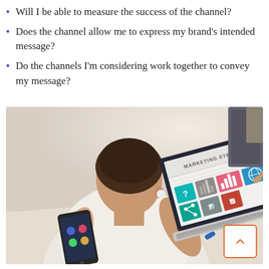Will I be able to measure the success of the channel?
Does the channel allow me to express my brand's intended message?
Do the channels I'm considering work together to convey my message?
[Figure (photo): Person sitting at a desk viewed from behind, working on a laptop displaying a 'Marketing Strategy' screen with colorful icons and charts, with a smartphone nearby on the desk.]